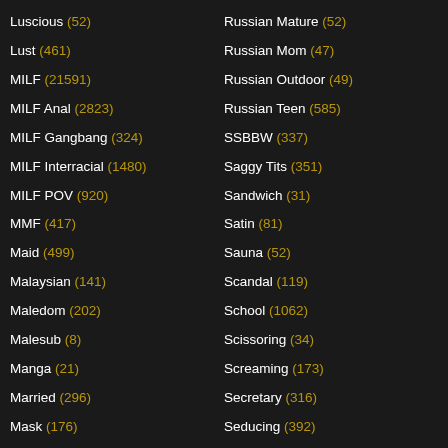Luscious (52)
Lust (461)
MILF (21591)
MILF Anal (2823)
MILF Gangbang (324)
MILF Interracial (1480)
MILF POV (920)
MMF (417)
Maid (499)
Malaysian (141)
Maledom (202)
Malesub (8)
Manga (21)
Married (296)
Mask (176)
Russian Mature (52)
Russian Mom (47)
Russian Outdoor (49)
Russian Teen (585)
SSBBW (337)
Saggy Tits (351)
Sandwich (31)
Satin (81)
Sauna (52)
Scandal (119)
School (1062)
Scissoring (34)
Screaming (173)
Secretary (316)
Seducing (392)